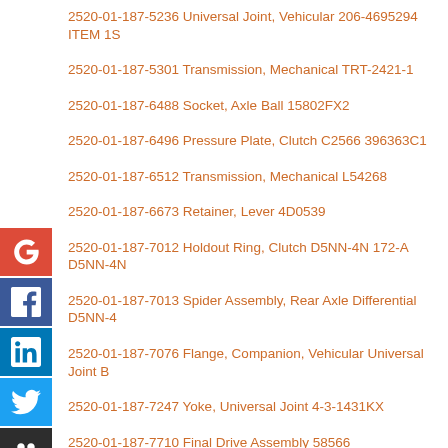2520-01-187-5236 Universal Joint, Vehicular 206-4695294 ITEM 1S
2520-01-187-5301 Transmission, Mechanical TRT-2421-1
2520-01-187-6488 Socket, Axle Ball 15802FX2
2520-01-187-6496 Pressure Plate, Clutch C2566 396363C1
2520-01-187-6512 Transmission, Mechanical L54268
2520-01-187-6673 Retainer, Lever 4D0539
2520-01-187-7012 Holdout Ring, Clutch D5NN-4N 172-A D5NN-4N
2520-01-187-7013 Spider Assembly, Rear Axle Differential D5NN-4
2520-01-187-7076 Flange, Companion, Vehicular Universal Joint B
2520-01-187-7247 Yoke, Universal Joint 4-3-1431KX
2520-01-187-7710 Final Drive Assembly 58566